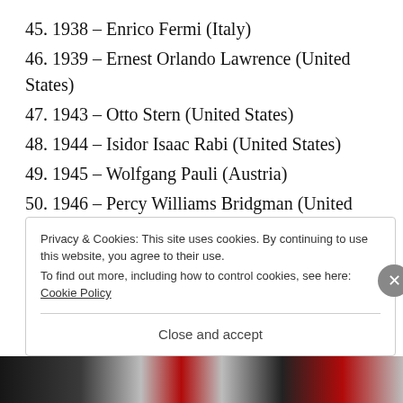45. 1938 – Enrico Fermi (Italy)
46. 1939 – Ernest Orlando Lawrence (United States)
47. 1943 – Otto Stern (United States)
48. 1944 – Isidor Isaac Rabi (United States)
49. 1945 – Wolfgang Pauli (Austria)
50. 1946 – Percy Williams Bridgman (United States)
Privacy & Cookies: This site uses cookies. By continuing to use this website, you agree to their use. To find out more, including how to control cookies, see here: Cookie Policy
Close and accept